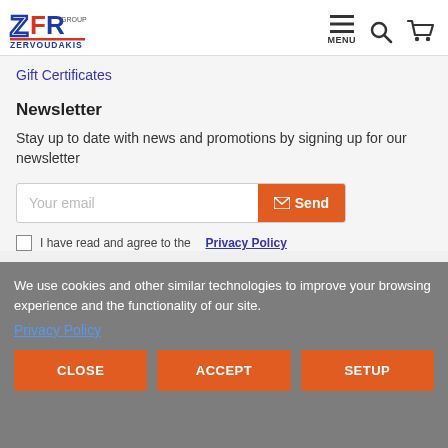[Figure (logo): ZFR Group Zervoudakis logo with blue stylized letters]
Gift Certificates
Newsletter
Stay up to date with news and promotions by signing up for our newsletter
Your email  Send
I have read and agree to the Privacy Policy
We use cookies and other similar technologies to improve your browsing experience and the functionality of our site.
Privacy Policy
CLOSE   ACCEPT   SETUP